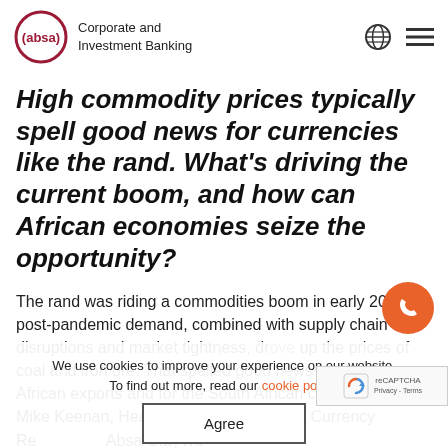Corporate and Investment Banking
High commodity prices typically spell good news for currencies like the rand. What's driving the current boom, and how can African economies seize the opportunity?
The rand was riding a commodities boom in early 2022, as post-pandemic demand, combined with supply chain disruptions and market tightness, drove up the prices of coal and iron ore. That spelled good news for South African exports and for the South African currency, but as Mike Keenan, Head of Fixed Income and Currency Research at Absa CIB, warned, the opportunity is only as good as the economy's...
We use cookies to improve your experience on our website. To find out more, read our cookie policy.